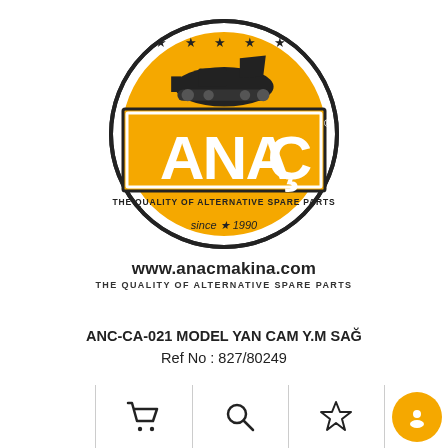[Figure (logo): ANAÇ brand logo — circular badge with orange/yellow background, bulldozer silhouette at top, white stars, bold 'ANAÇ' text in white with orange rectangle, tagline 'THE QUALITY OF ALTERNATIVE SPARE PARTS', 'since 1990' text at bottom]
www.anacmakina.com
THE QUALITY OF ALTERNATIVE SPARE PARTS
ANC-CA-021 MODEL YAN CAM Y.M SAĞ
Ref No : 827/80249
[Figure (illustration): Bottom navigation bar with shopping cart icon, magnifying glass search icon, star/bookmark icon, and orange circle chat/support button icon]